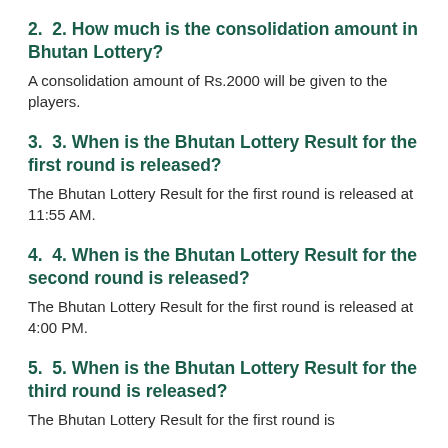2.  2. How much is the consolidation amount in Bhutan Lottery?
A consolidation amount of Rs.2000 will be given to the players.
3.  3. When is the Bhutan Lottery Result for the first round is released?
The Bhutan Lottery Result for the first round is released at 11:55 AM.
4.  4. When is the Bhutan Lottery Result for the second round is released?
The Bhutan Lottery Result for the first round is released at 4:00 PM.
5.  5. When is the Bhutan Lottery Result for the third round is released?
The Bhutan Lottery Result for the first round is